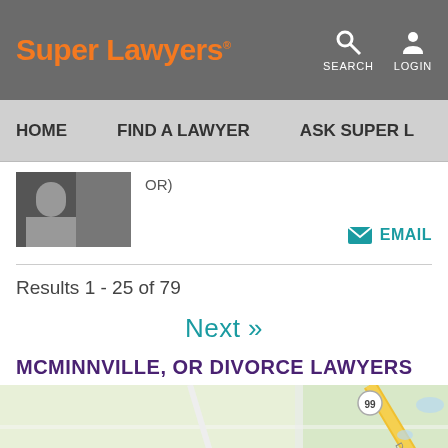Super Lawyers® | SEARCH | LOGIN
HOME | FIND A LAWYER | ASK SUPER L...
OR)
EMAIL
Results 1 - 25 of 79
Next »
MCMINNVILLE, OR DIVORCE LAWYERS
[Figure (map): Street map showing McMinnville, OR area with roads including Dodd Rd and a route marker labeled 99]
View map